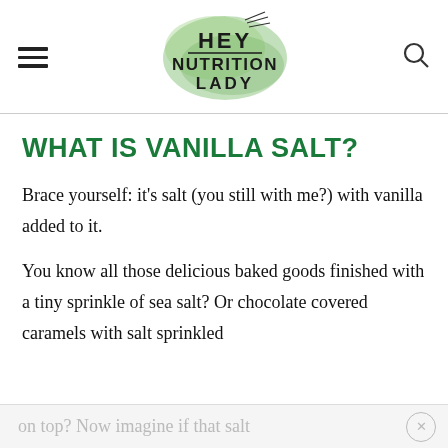HEY NUTRITION LADY
WHAT IS VANILLA SALT?
Brace yourself: it's salt (you still with me?) with vanilla added to it.
You know all those delicious baked goods finished with a tiny sprinkle of sea salt? Or chocolate covered caramels with salt sprinkled on top? Now imagine if that salt